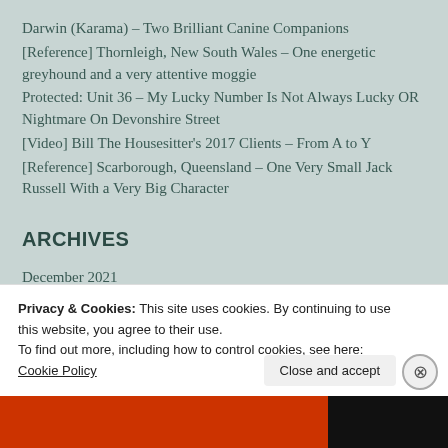Darwin (Karama) – Two Brilliant Canine Companions
[Reference] Thornleigh, New South Wales – One energetic greyhound and a very attentive moggie
Protected: Unit 36 – My Lucky Number Is Not Always Lucky OR Nightmare On Devonshire Street
[Video] Bill The Housesitter's 2017 Clients – From A to Y
[Reference] Scarborough, Queensland – One Very Small Jack Russell With a Very Big Character
ARCHIVES
December 2021
August 2018
Privacy & Cookies: This site uses cookies. By continuing to use this website, you agree to their use.
To find out more, including how to control cookies, see here: Cookie Policy
Close and accept